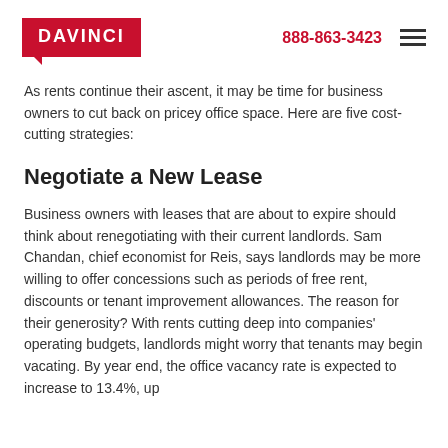DAVINCI  888-863-3423
As rents continue their ascent, it may be time for business owners to cut back on pricey office space. Here are five cost-cutting strategies:
Negotiate a New Lease
Business owners with leases that are about to expire should think about renegotiating with their current landlords. Sam Chandan, chief economist for Reis, says landlords may be more willing to offer concessions such as periods of free rent, discounts or tenant improvement allowances. The reason for their generosity? With rents cutting deep into companies' operating budgets, landlords might worry that tenants may begin vacating. By year end, the office vacancy rate is expected to increase to 13.4%, up